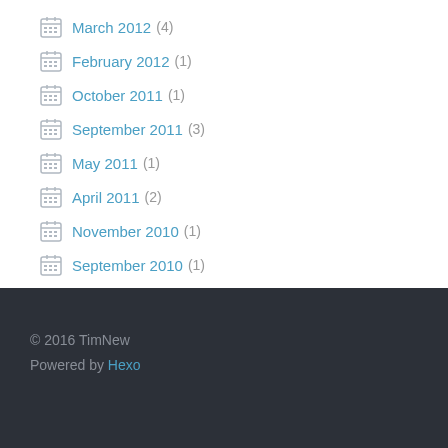March 2012 (4)
February 2012 (1)
October 2011 (1)
September 2011 (3)
May 2011 (1)
April 2011 (2)
November 2010 (1)
September 2010 (1)
April 2010 (1)
March 2010 (2)
© 2016 TimNew
Powered by Hexo